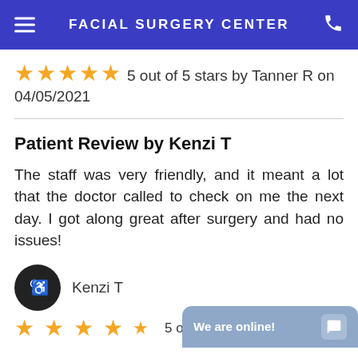FACIAL SURGERY CENTER
5 out of 5 stars by Tanner R on 04/05/2021
Patient Review by Kenzi T
The staff was very friendly, and it meant a lot that the doctor called to check on me the next day. I got along great after surgery and had no issues!
Kenzi T
5 out o…